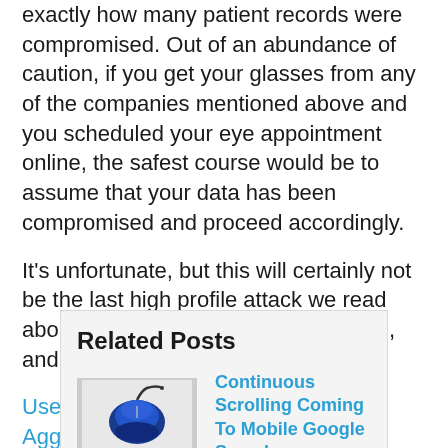exactly how many patient records were compromised. Out of an abundance of caution, if you get your glasses from any of the companies mentioned above and you scheduled your eye appointment online, the safest course would be to assume that your data has been compromised and proceed accordingly.
It's unfortunate, but this will certainly not be the last high profile attack we read about this year. Stay vigilant out there, and stay safe.
Used with permission from Article Aggregator
Related Posts
Continuous Scrolling Coming To Mobile Google Searches
Attachment Extensions